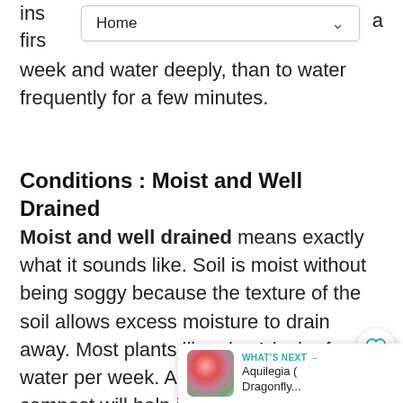ins... firs... a
[Figure (screenshot): Navigation dropdown bar showing 'Home' with a chevron/arrow icon on the right side]
week and water deeply, than to water frequently for a few minutes.
Conditions : Moist and Well Drained
Moist and well drained means exactly what it sounds like. Soil is moist without being soggy because the texture of the soil allows excess moisture to drain away. Most plants like abo... 1 inch of water per week. Amending your so... with compost will help improve texture and water holding or draining capacity. A 3 inch layer of mulch will help to maintain s... moisture and studies have shown that mulched plants grow faster than non-mulched plants.